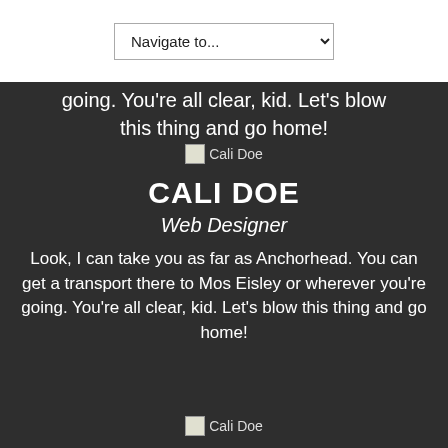[Figure (screenshot): Navigation dropdown selector reading 'Navigate to...']
going. You're all clear, kid. Let's blow this thing and go home!
[Figure (photo): Broken image placeholder labeled 'Cali Doe']
CALI DOE
Web Designer
Look, I can take you as far as Anchorhead. You can get a transport there to Mos Eisley or wherever you're going. You're all clear, kid. Let's blow this thing and go home!
[Figure (photo): Broken image placeholder labeled 'Cali Doe']